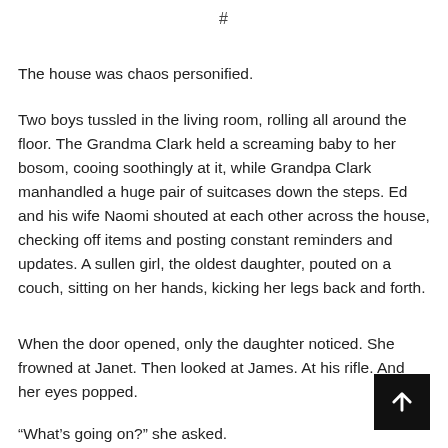#
The house was chaos personified.
Two boys tussled in the living room, rolling all around the floor. The Grandma Clark held a screaming baby to her bosom, cooing soothingly at it, while Grandpa Clark manhandled a huge pair of suitcases down the steps. Ed and his wife Naomi shouted at each other across the house, checking off items and posting constant reminders and updates. A sullen girl, the oldest daughter, pouted on a couch, sitting on her hands, kicking her legs back and forth.
When the door opened, only the daughter noticed. She frowned at Janet. Then looked at James. At his rifle. And her eyes popped.
“What’s going on?” she asked.